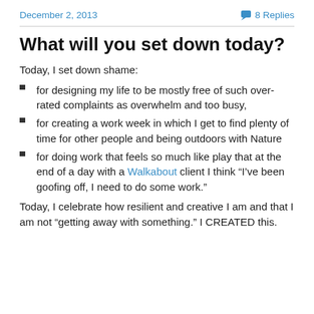December 2, 2013   8 Replies
What will you set down today?
Today, I set down shame:
for designing my life to be mostly free of such over-rated complaints as overwhelm and too busy,
for creating a work week in which I get to find plenty of time for other people and being outdoors with Nature
for doing work that feels so much like play that at the end of a day with a Walkabout client I think “I’ve been goofing off, I need to do some work.”
Today, I celebrate how resilient and creative I am and that I am not “getting away with something.” I CREATED this.